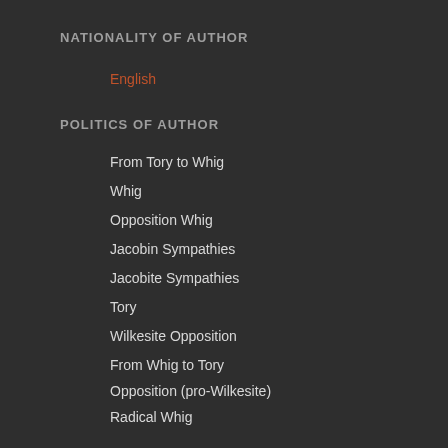NATIONALITY OF AUTHOR
English
POLITICS OF AUTHOR
From Tory to Whig
Whig
Opposition Whig
Jacobin Sympathies
Jacobite Sympathies
Tory
Wilkesite Opposition
From Whig to Tory
Opposition (pro-Wilkesite)
Radical Whig
RELIGION OF AUTHOR
Anglican with Enthusiastic or Evangelical Tendencies
Anglican
Dissenter (no specific denomination)